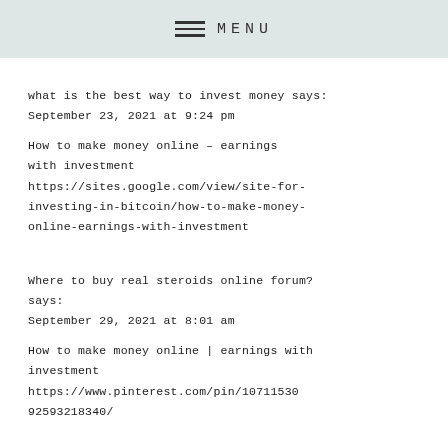MENU
what is the best way to invest money says:
September 23, 2021 at 9:24 pm
How to make money online – earnings with investment
https://sites.google.com/view/site-for-investing-in-bitcoin/how-to-make-money-online-earnings-with-investment
Where to buy real steroids online forum? says:
September 29, 2021 at 8:01 am
How to make money online | earnings with investment
https://www.pinterest.com/pin/107115309 2593218340/